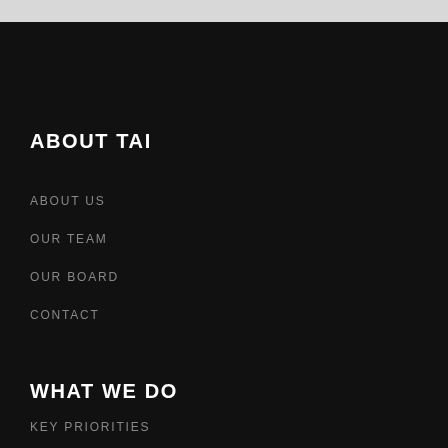ABOUT TAI
ABOUT US
OUR TEAM
OUR BOARD
CONTACT
WHAT WE DO
KEY PRIORITIES
CONNECT PROFESSIONALS